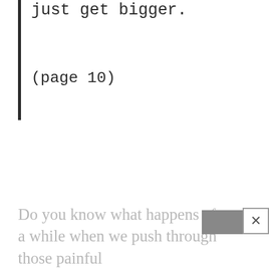just get bigger.
(page 10)
Do you know what happens after a while when we push through those painful